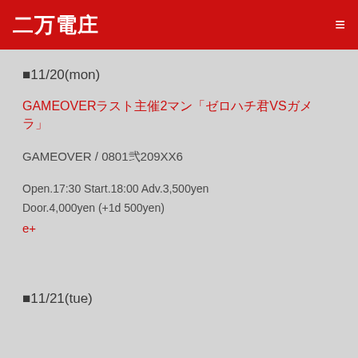二万電庄
■11/20(mon)
GAMEOVERラスト主催2マン「ゼロハチ君VSガメラ」
GAMEOVER / 0801弐209XX6
Open.17:30 Start.18:00 Adv.3,500yen
Door.4,000yen (+1d 500yen)
e+
■11/21(tue)